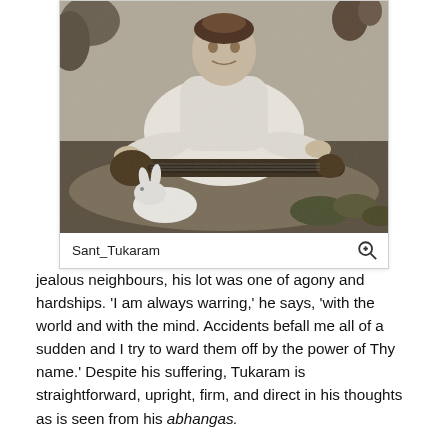[Figure (photo): Black and white photograph of Sant Tukaram, a saint seated cross-legged outdoors holding a musical instrument (veena/tanpura), with a white rabbit visible in the foreground and foliage in the background.]
Sant_Tukaram
jealous neighbours, his lot was one of agony and hardships. 'I am always warring,' he says, 'with the world and with the mind. Accidents befall me all of a sudden and I try to ward them off by the power of Thy name.' Despite his suffering, Tukaram is straightforward, upright, firm, and direct in his thoughts as is seen from his abhangas.